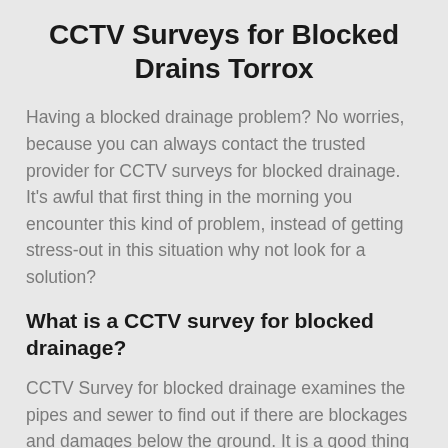CCTV Surveys for Blocked Drains Torrox
Having a blocked drainage problem? No worries, because you can always contact the trusted provider for CCTV surveys for blocked drainage. It's awful that first thing in the morning you encounter this kind of problem, instead of getting stress-out in this situation why not look for a solution?
What is a CCTV survey for blocked drainage?
CCTV Survey for blocked drainage examines the pipes and sewer to find out if there are blockages and damages below the ground. It is a good thing to consider if you are going to